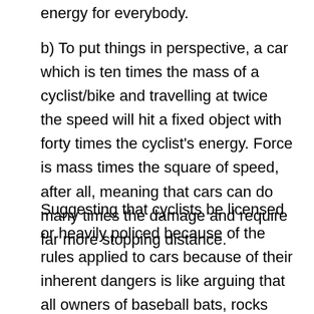energy for everybody.
b) To put things in perspective, a car which is ten times the mass of a cyclist/bike and travelling at twice the speed will hit a fixed object with forty times the cyclist's energy. Force is mass times the square of speed, after all, meaning that cars can do many times the damage and require far more stopping distance.
Suggesting that cyclists be licensed or heavily policed because of the rules applied to cars because of their inherent dangers is like arguing that all owners of baseball bats, rocks and slingshots be required to get FACs, since after all, it's